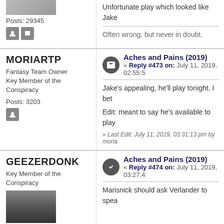Posts: 29345
Unfortunate play which looked like Jake
Often wrong, but never in doubt.
MORIARTP
Fantasy Team Owner
Key Member of the Conspiracy
Posts: 3203
Aches and Pains (2019)
« Reply #473 on: July 11, 2019, 02:55:5
Jake's appealing, he'll play tonight. I bet
Edit: meant to say he's available to play
« Last Edit: July 11, 2019, 03:31:13 pm by moria
GEEZERDONK
Key Member of the Conspiracy
Aches and Pains (2019)
« Reply #474 on: July 11, 2019, 03:27:4
Marisnick should ask Verlander to spea